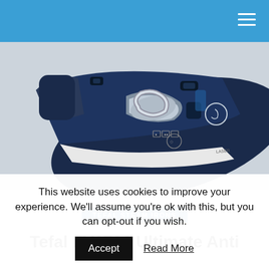Navigation bar with hamburger menu
[Figure (photo): Close-up photo of a Tefal FV9736 steam iron in dark navy blue and white, showing the steam nozzle, water tank, control buttons, and sole plate with labels and symbols. The iron is set against a light grey background.]
TEFAL STEAM IRONS
Tefal FV9736 Ultimate Anti
This website uses cookies to improve your experience. We'll assume you're ok with this, but you can opt-out if you wish.
Accept   Read More